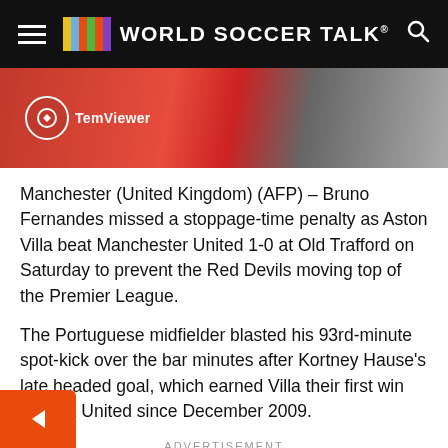WORLD SOCCER TALK
[Figure (photo): Partial photo of a person in a Manchester United red jersey with TeamViewer sponsor logo visible]
Manchester (United Kingdom) (AFP) – Bruno Fernandes missed a stoppage-time penalty as Aston Villa beat Manchester United 1-0 at Old Trafford on Saturday to prevent the Red Devils moving top of the Premier League.
The Portuguese midfielder blasted his 93rd-minute spot-kick over the bar minutes after Kortney Hause's late headed goal, which earned Villa their first win against United since December 2009.
ADVERTISEMENT